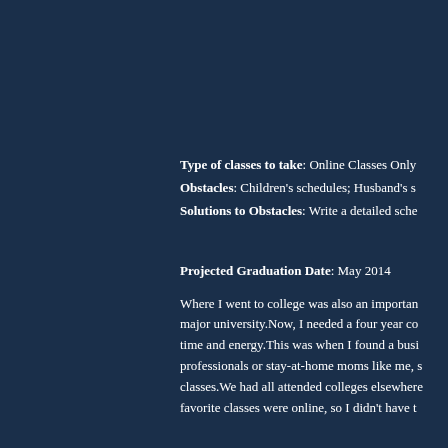Type of classes to take: Online Classes Only
Obstacles: Children's schedules; Husband's s…
Solutions to Obstacles: Write a detailed sche…
Projected Graduation Date: May 2014
Where I went to college was also an importan… major university.Now, I needed a four year co… time and energy.This was when I found a busi… professionals or stay-at-home moms like me, s… classes.We had all attended colleges elsewhere… favorite classes were online, so I didn't have t…